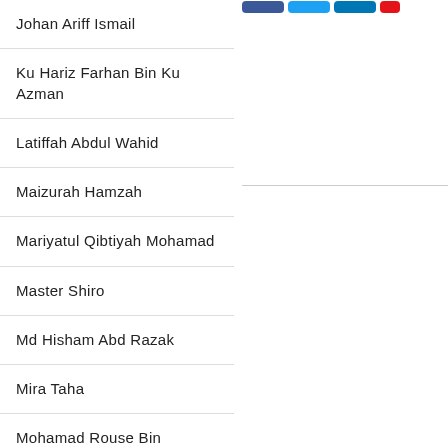Johan Ariff Ismail
Ku Hariz Farhan Bin Ku Azman
Latiffah Abdul Wahid
Maizurah Hamzah
Mariyatul Qibtiyah Mohamad
Master Shiro
Md Hisham Abd Razak
Mira Taha
Mohamad Rouse Bin